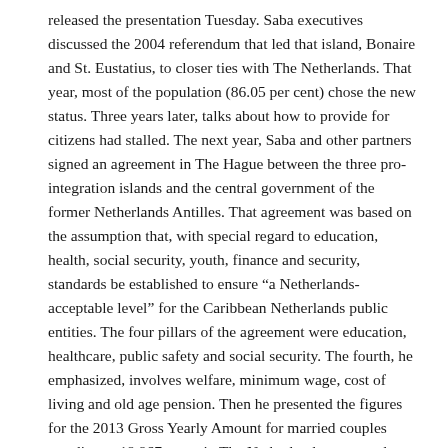released the presentation Tuesday. Saba executives discussed the 2004 referendum that led that island, Bonaire and St. Eustatius, to closer ties with The Netherlands. That year, most of the population (86.05 per cent) chose the new status. Three years later, talks about how to provide for citizens had stalled. The next year, Saba and other partners signed an agreement in The Hague between the three pro-integration islands and the central government of the former Netherlands Antilles. That agreement was based on the assumption that, with special regard to education, health, social security, youth, finance and security, standards be established to ensure “a Netherlands-acceptable level” for the Caribbean Netherlands public entities. The four pillars of the agreement were education, healthcare, public safety and social security. The fourth, he emphasized, involves welfare, minimum wage, cost of living and old age pension. Then he presented the figures for the 2013 Gross Yearly Amount for married couples standing at 19,967 euros in The Netherlands compared with 3,191 euros on Saba at 16 per cent of national average. With regards to comparisons for single parents, The Netherlands’ level is 19,007 euros, while on Saba it stands at 2,164 euros, or about 14 per cent of the national average. The